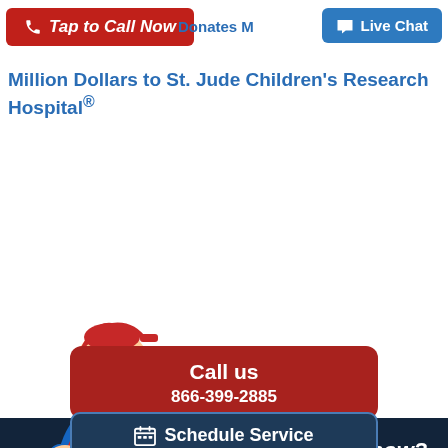Tap to Call Now | Donates M | Live Chat
Million Dollars to St. Jude Children's Research Hospital®
[Figure (illustration): Cartoon superhero mascot in blue suit with red cape and red boots, arms crossed, wearing red cap]
Need service now? We're here 7 days a week.
Call us 866-399-2885
Schedule Service